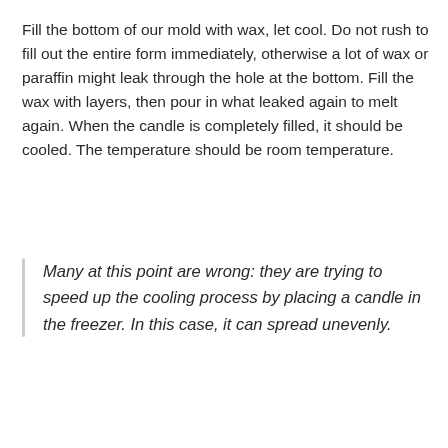Fill the bottom of our mold with wax, let cool. Do not rush to fill out the entire form immediately, otherwise a lot of wax or paraffin might leak through the hole at the bottom. Fill the wax with layers, then pour in what leaked again to melt again. When the candle is completely filled, it should be cooled. The temperature should be room temperature.
Many at this point are wrong: they are trying to speed up the cooling process by placing a candle in the freezer. In this case, it can spread unevenly.